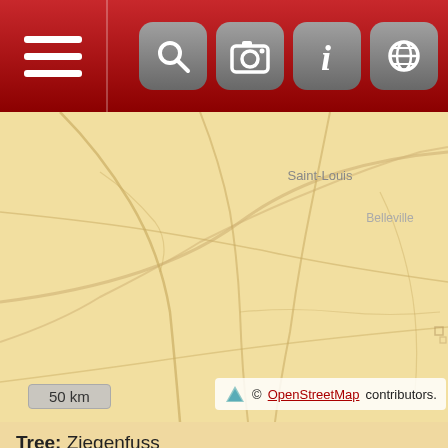[Figure (screenshot): Mobile app toolbar with hamburger menu on left (dark red background) and four icon buttons on right: search/magnifier, camera, info (i), and globe/language]
[Figure (map): OpenStreetMap tile showing the Saint-Louis / Belleville area region with roads and place names on a tan/beige background]
50 km
© OpenStreetMap contributors.
Tree: Ziegenfuss
[Figure (illustration): Map search icon (green map with magnifying glass)]
OpenStreetMap
City/Town : Latitude: 38.8114364, Longitude: -89.95315699999998
Birth